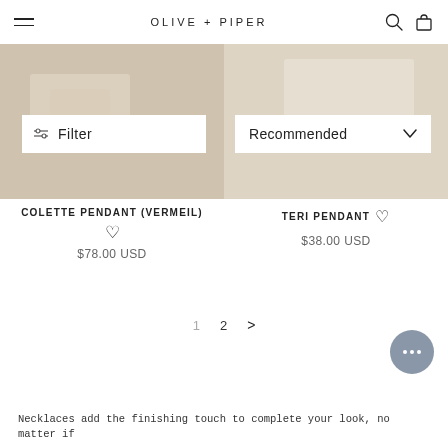OLIVE + PIPER
[Figure (photo): Two product images side by side showing jewelry on neutral beige/linen background with filter and sort controls overlaid]
Filter
Recommended
COLETTE PENDANT (VERMEIL) ♡
$78.00 USD
TERI PENDANT ♡
$38.00 USD
1  2  >
Necklaces add the finishing touch to complete your look, no matter if